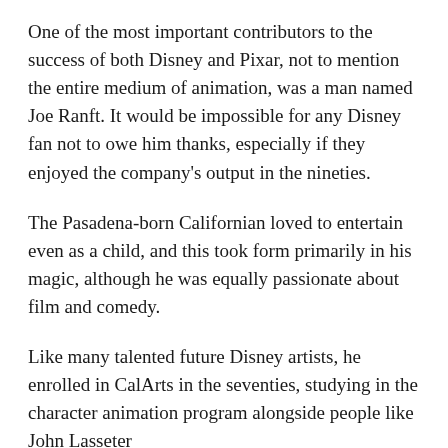One of the most important contributors to the success of both Disney and Pixar, not to mention the entire medium of animation, was a man named Joe Ranft. It would be impossible for any Disney fan not to owe him thanks, especially if they enjoyed the company's output in the nineties.
The Pasadena-born Californian loved to entertain even as a child, and this took form primarily in his magic, although he was equally passionate about film and comedy.
Like many talented future Disney artists, he enrolled in CalArts in the seventies, studying in the character animation program alongside people like John Lasseter